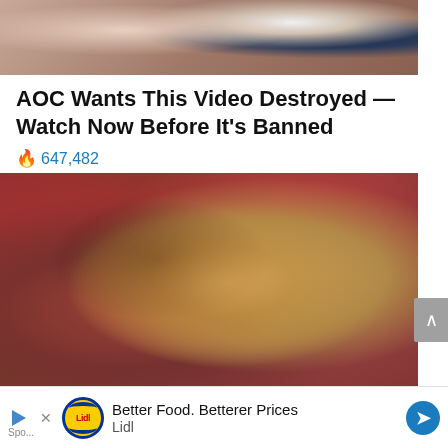[Figure (photo): Cropped photo of two people, partially visible at top of page]
AOC Wants This Video Destroyed — Watch Now Before It's Banned
🔥 647,482
[Figure (photo): Medical illustration of a pancreas and surrounding organs in reddish-brown tones]
What They Didn't Want You Knowing About Metformin
Better Food. Betterer Prices Lidl
Sponsored